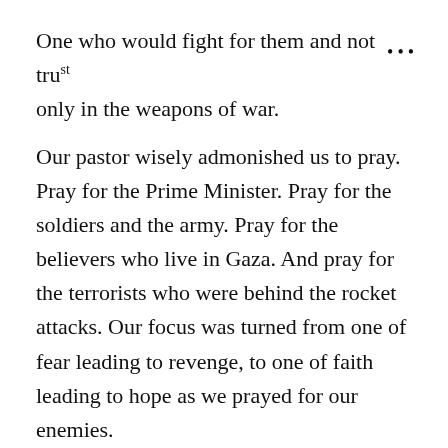One who would fight for them and not trust only in the weapons of war.
Our pastor wisely admonished us to pray. Pray for the Prime Minister. Pray for the soldiers and the army. Pray for the believers who live in Gaza. And pray for the terrorists who were behind the rocket attacks. Our focus was turned from one of fear leading to revenge, to one of faith leading to hope as we prayed for our enemies.